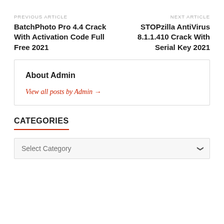PREVIOUS ARTICLE
BatchPhoto Pro 4.4 Crack With Activation Code Full Free 2021
NEXT ARTICLE
STOPzilla AntiVirus 8.1.1.410 Crack With Serial Key 2021
About Admin
View all posts by Admin →
CATEGORIES
Select Category